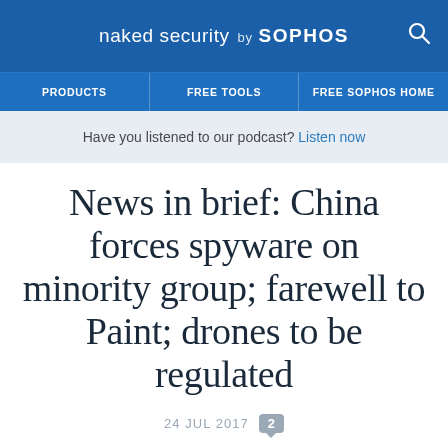naked security by SOPHOS
PRODUCTS | FREE TOOLS | FREE SOPHOS HOME
Have you listened to our podcast? Listen now
News in brief: China forces spyware on minority group; farewell to Paint; drones to be regulated
24 JUL 2017  2
Law & order, Microsoft, news in brief